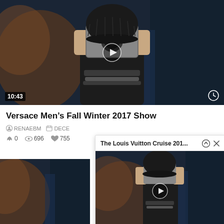[Figure (screenshot): Video thumbnail showing a person in dark clothing and beanie hat holding a camera up to their face, dark blue moody background. Duration badge shows 10:43, clock icon bottom right, play button center.]
Versace Men’s Fall Winter 2017 Show
RENAEBM  DECE
0  696  755
[Figure (screenshot): Partial video thumbnail showing dark blue and rust-colored abstract background, bottom-left corner only.]
[Figure (screenshot): Popup card titled 'The Louis Vuitton Cruise 201...' with up arrow and X icons, containing a video thumbnail of a person in dark clothing and beanie holding a camera, with a play button overlay.]